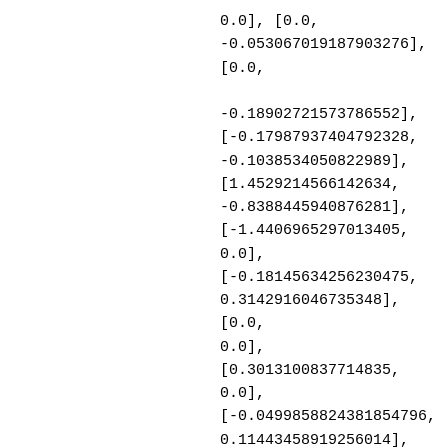0.0], [0.0, -0.053067019187903276], [0.0, -0.18902721573786552], [-0.17987937404792328, -0.1038534050822989], [1.4529214566142634, -0.8388445940876281], [-1.4406965297013405, 0.0], [-0.18145634256230475, 0.3142916046735348], [0.0, 0.0], [0.3013100837714835, 0.0], [-0.0499858824381854796, 0.11443458919256014], [-0.11558234456709023, -0.20019449324813288], [0.0, 1.5985085488052397], [-0.4857085594912079, -0.8412719027098627], [-0.1482418986529934, -0.2567625002774609], [0.0,